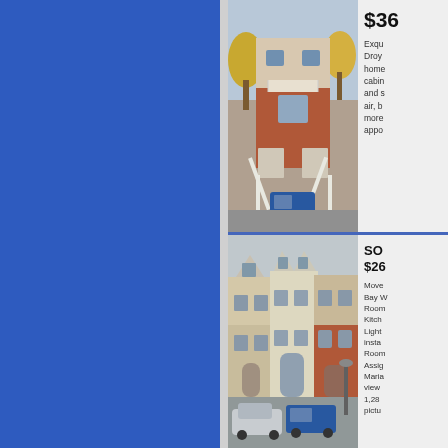[Figure (photo): Exterior photo of a multi-story brick townhouse with white railings and staircase, blue van parked in driveway, autumn trees]
$36...
Exqu... Droy... home... cabin... and s... air, b... more... appo...
[Figure (photo): Exterior photo of a row of townhouses, beige and brick, with blue van and silver car parked in front]
SO... $26...
Move... Bay W... Room... Kitch... Light... insta... Room... Assig... Maria... view... 1,28... pictu...